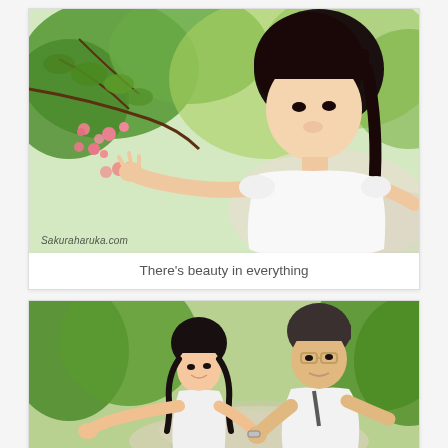[Figure (photo): A young Asian girl in a white dress reaching out to touch pink flowers on a tree branch, with green foliage in the background. Watermark reads 'Sakuraharuka.com'.]
There's beauty in everything
[Figure (photo): A young Asian girl in a white dress with pigtails extending her arms, standing next to a man wearing glasses and a white shirt, both outdoors on a green tree-lined path.]